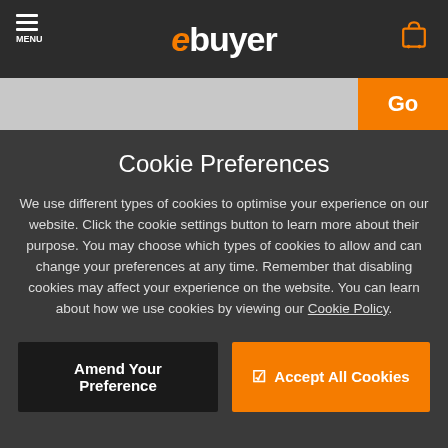ebuyer - MENU
Black on white XTL Heat-Shrink Tube 6mm
Thermal Transfer Printing Technology
Black on white
Size: 0.6 cm x 2.9 m
Cookie Preferences
We use different types of cookies to optimise your experience on our website. Click the cookie settings button to learn more about their purpose. You may choose which types of cookies to allow and can change your preferences at any time. Remember that disabling cookies may affect your experience on the website. You can learn about how we use cookies by viewing our Cookie Policy.